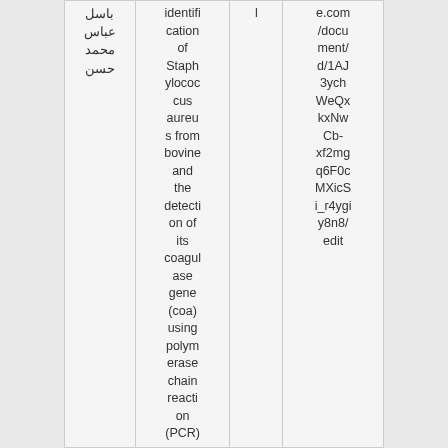| باسل عباس محمد حسن | identification of Staphylococcus aureus from bovine and the detection of its coagulase gene (coa) using polymerase chain reaction (PCR) | l | e.com/document/d/1AJ3ych WeQxkxNwCb-xf2mgq6F0cMXicSi_r4ygiy8n8/edit |